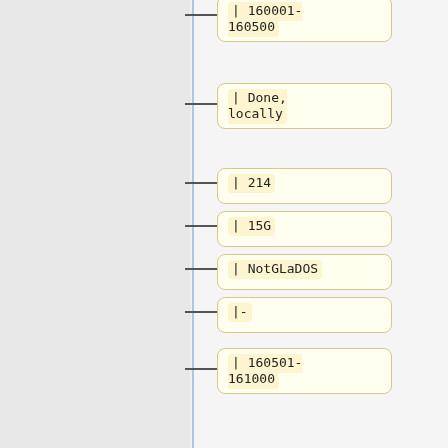[Figure (flowchart): Vertical flowchart/tree diagram showing nodes with monospace code-style labels connected by a vertical blue line with horizontal branches. Nodes shown (top to bottom): '| 160001-160500', '| Done, locally', '| 214', '| 15G', '| NotGLaDOS', '|-', '| 160501-161000', '| Done, locally', '| 154', '| 17G']